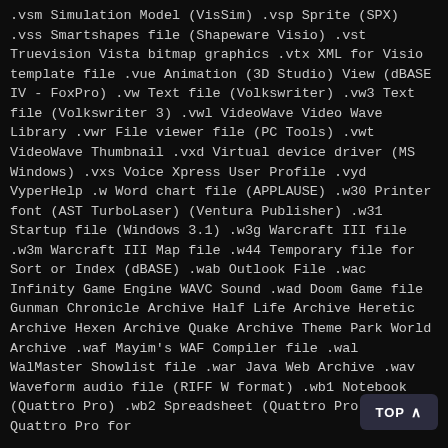.vsm Simulation Model (VisSim) .vsp Sprite (SPX) .vss Smartshapes file (Shapeware Visio) .vst Truevision Vista bitmap graphics .vtx XML for Visio template file .vue Animation (3D Studio) View (dBASE IV - FoxPro) .vw Text file (Volkswriter) .vw3 Text file (Volkswriter 3) .vwl VideoWave Video Wave Library .vwr File viewer file (PC Tools) .vwt VideoWave Thumbnail .vxd Virtual device driver (MS Windows) .vxs Voice Xpress User Profile .vyd VyperHelp .w Word chart file (APPLAUSE) .w30 Printer font (AST TurboLaser) (Ventura Publisher) .w31 Startup file (Windows 3.1) .w3g Warcraft III file .w3m Warcraft III Map file .w44 Temporary file for Sort or Index (dBASE) .wab Outlook File .wac Infinity Game Engine WAVC Sound .wad Doom Game file Gunman Chronicle Archive Half Life Archive Heretic Archive Hexen Archive Quake Archive Theme Park World Archive .waf Mayim's WAF Compiler file .wal WalMaster Showlist file .war Java Web Archive .wav Waveform audio file (RIFF W format) .wb1 Notebook (Quattro Pro) .wb2 Spreadsheet (Quattro Pro) .wb3 Quattro Pro for